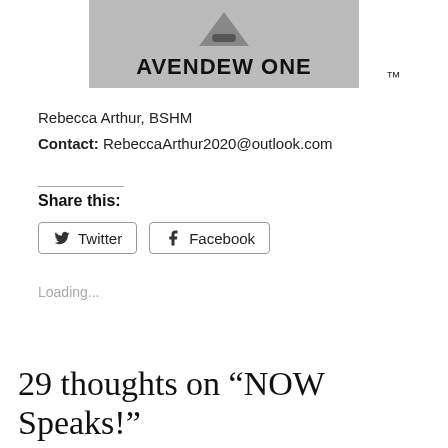[Figure (logo): Avendew One logo: gray box with triangle/pencil icon and bold text 'AVENDEW ONE' with TM mark]
Rebecca Arthur, BSHM
Contact: RebeccaArthur2020@outlook.com
Share this:
Twitter  Facebook
Loading...
29 thoughts on “NOW Speaks!”